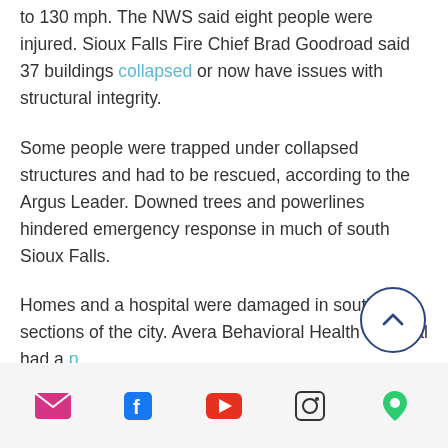to 130 mph. The NWS said eight people were injured. Sioux Falls Fire Chief Brad Goodroad said 37 buildings collapsed or now have issues with structural integrity.
Some people were trapped under collapsed structures and had to be rescued, according to the Argus Leader. Downed trees and powerlines hindered emergency response in much of south Sioux Falls.
Homes and a hospital were damaged in southern sections of the city. Avera Behavioral Health Hospital had a portion of its roof torn off by the storms, according to the Argus Leader. Seven
[Figure (other): Scroll-to-top circular button with chevron up icon, dark blue border]
Social media icon bar: email, facebook, youtube, instagram, location pin